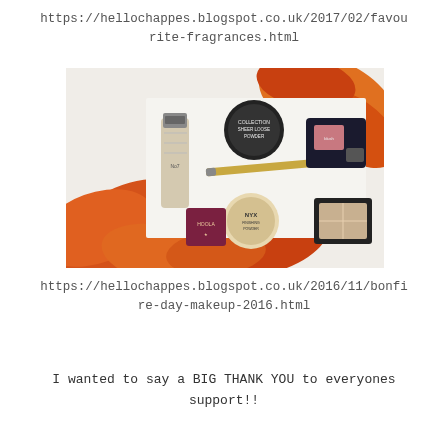https://hellochappes.blogspot.co.uk/2017/02/favourite-fragrances.html
[Figure (photo): Flatlay photo of makeup products including a foundation bottle, Collection Sheer Loose Powder compact, NYX finishing powder, Hoola bronzer, a gold pencil/eyeliner, a blush compact, and a highlight palette, all arranged among orange and red autumn leaves on a white surface.]
https://hellochappes.blogspot.co.uk/2016/11/bonfire-day-makeup-2016.html
I wanted to say a BIG THANK YOU to everyones support!!